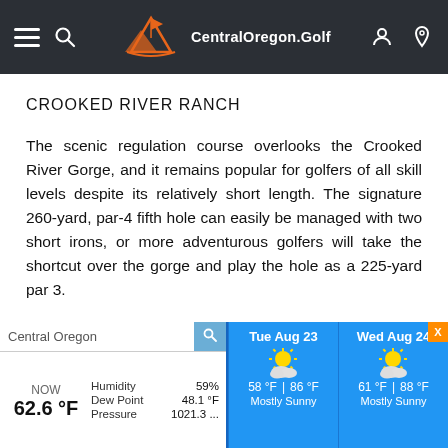CentralOregon.Golf navigation bar
CROOKED RIVER RANCH
The scenic regulation course overlooks the Crooked River Gorge, and it remains popular for golfers of all skill levels despite its relatively short length. The signature 260-yard, par-4 fifth hole can easily be managed with two short irons, or more adventurous golfers will take the shortcut over the gorge and play the hole as a 225-yard par 3.
[Figure (infographic): Weather widget showing current conditions in Central Oregon (62.6°F, Humidity 59%, Dew Point 48.1°F, Pressure 1021.3...) and forecasts for Tue Aug 23 (58°F / 86°F, Mostly Sunny) and Wed Aug 24 (61°F / 88°F, Mostly Sunny)]